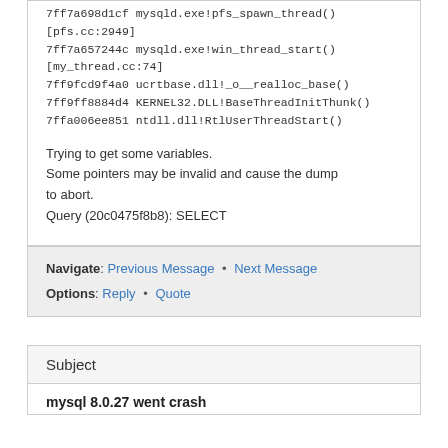7ff7a698d1cf mysqld.exe!pfs_spawn_thread() [pfs.cc:2949]
7ff7a657244c mysqld.exe!win_thread_start() [my_thread.cc:74]
7ff9fcd9f4a0 ucrtbase.dll!_o__realloc_base()
7ff9ff8884d4 KERNEL32.DLL!BaseThreadInitThunk()
7ffa006ee851 ntdll.dll!RtlUserThreadStart()
Trying to get some variables.
Some pointers may be invalid and cause the dump to abort.
Query (20c0475f8b8): SELECT
Navigate: Previous Message · Next Message
Options: Reply · Quote
Subject
mysql 8.0.27 went crash